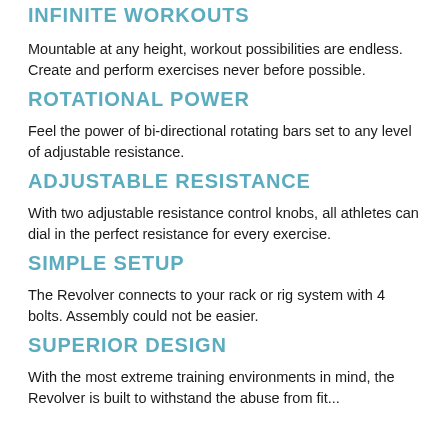INFINITE WORKOUTS
Mountable at any height, workout possibilities are endless. Create and perform exercises never before possible.
ROTATIONAL POWER
Feel the power of bi-directional rotating bars set to any level of adjustable resistance.
ADJUSTABLE RESISTANCE
With two adjustable resistance control knobs, all athletes can dial in the perfect resistance for every exercise.
SIMPLE SETUP
The Revolver connects to your rack or rig system with 4 bolts. Assembly could not be easier.
SUPERIOR DESIGN
With the most extreme training environments in mind, the Revolver is built to withstand the abuse from fit...